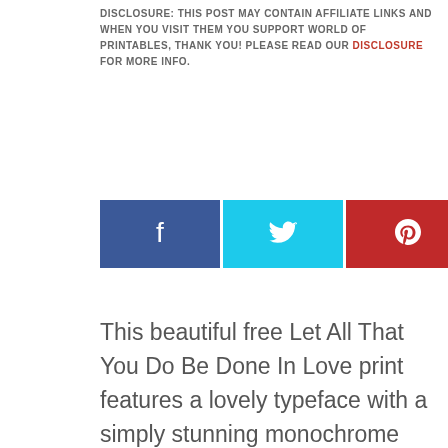DISCLOSURE: THIS POST MAY CONTAIN AFFILIATE LINKS AND WHEN YOU VISIT THEM YOU SUPPORT WORLD OF PRINTABLES, THANK YOU! PLEASE READ OUR DISCLOSURE FOR MORE INFO.
[Figure (other): Three social share buttons: Facebook (blue), Twitter (cyan), Pinterest (red) with icons]
This beautiful free Let All That You Do Be Done In Love print features a lovely typeface with a simply stunning monochrome wreath to give it a touch of timeless elegance.
Use this beautiful Let All That You Do Be Done In Love print to decorate your home or even place it at your work desk and to